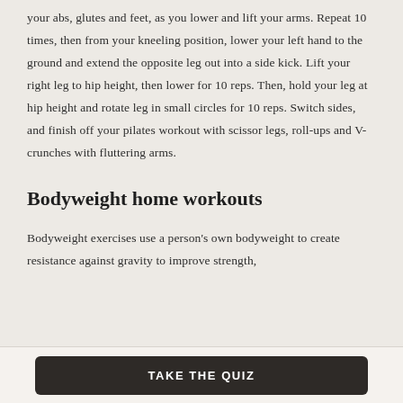your abs, glutes and feet, as you lower and lift your arms. Repeat 10 times, then from your kneeling position, lower your left hand to the ground and extend the opposite leg out into a side kick. Lift your right leg to hip height, then lower for 10 reps. Then, hold your leg at hip height and rotate leg in small circles for 10 reps. Switch sides, and finish off your pilates workout with scissor legs, roll-ups and V-crunches with fluttering arms.
Bodyweight home workouts
Bodyweight exercises use a person's own bodyweight to create resistance against gravity to improve strength,
TAKE THE QUIZ